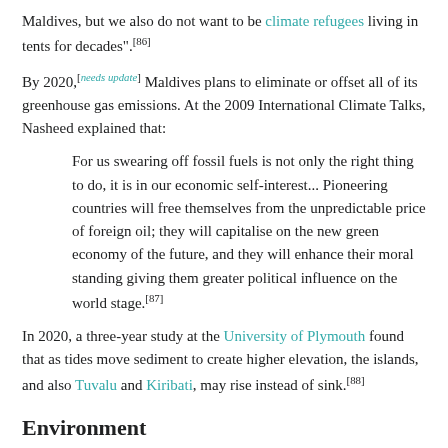Maldives, but we also do not want to be climate refugees living in tents for decades".[86]
By 2020,[needs update] Maldives plans to eliminate or offset all of its greenhouse gas emissions. At the 2009 International Climate Talks, Nasheed explained that:
For us swearing off fossil fuels is not only the right thing to do, it is in our economic self-interest... Pioneering countries will free themselves from the unpredictable price of foreign oil; they will capitalise on the new green economy of the future, and they will enhance their moral standing giving them greater political influence on the world stage.[87]
In 2020, a three-year study at the University of Plymouth found that as tides move sediment to create higher elevation, the islands, and also Tuvalu and Kiribati, may rise instead of sink.[88]
Environment
Environmental issues other than sea level rise include bad waste disposal and beach theft. Although the Maldives are kept relatively pristine and little litter can be found on the islands, no